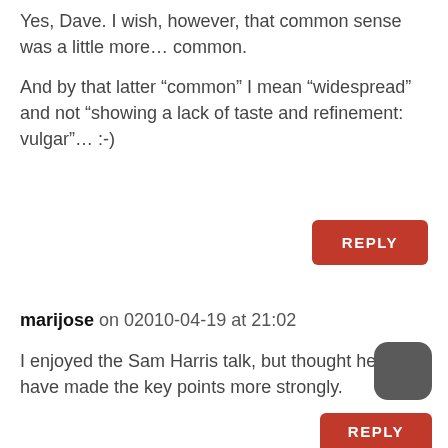Yes, Dave. I wish, however, that common sense was a little more… common.
And by that latter “common” I mean “widespread” and not “showing a lack of taste and refinement: vulgar”… :-)
marijose on 02010-04-19 at 21:02
I enjoyed the Sam Harris talk, but thought he could have made the key points more strongly.
I also vote for seny, which in Catalan means something like communal sensibleness.